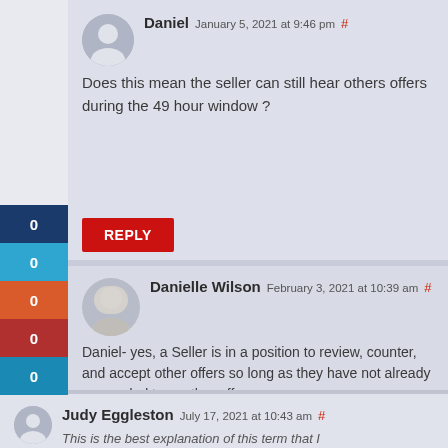Daniel January 5, 2021 at 9:46 pm #
Does this mean the seller can still hear others offers during the 49 hour window ?
REPLY
Danielle Wilson February 3, 2021 at 10:39 am #
Daniel- yes, a Seller is in a position to review, counter, and accept other offers so long as they have not already responded to another offer.
REPLY
Judy Eggleston July 17, 2021 at 10:43 am #
This is the best explanation of this term that I